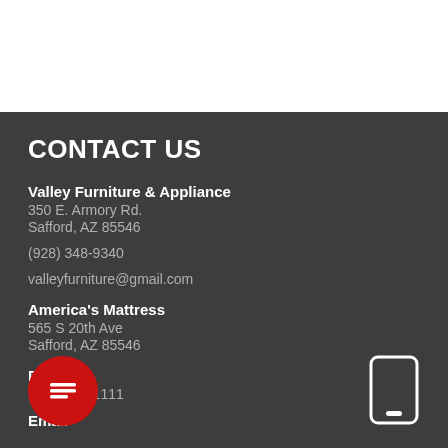CONTACT US
Valley Furniture & Appliance
350 E. Armory Rd.
Safford, AZ 85546
(928) 348-9340
valleyfurniture@gmail.com
America's Mattress
565 S 20th Ave
Safford, AZ 85546
Phone
(928) 348-1111
Email
[Figure (illustration): Red circular chat bubble icon with horizontal lines representing a message]
[Figure (illustration): White mobile phone device icon outline]